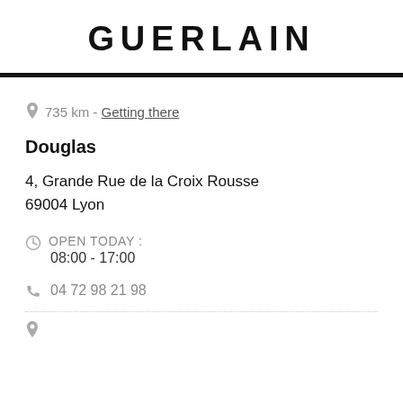GUERLAIN
735 km - Getting there
Douglas
4, Grande Rue de la Croix Rousse
69004 Lyon
OPEN TODAY :
08:00 - 17:00
04 72 98 21 98